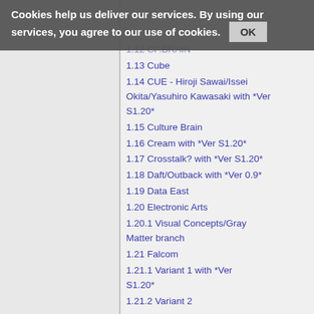Cookies help us deliver our services. By using our services, you agree to our use of cookies. OK
1.12 CP.BRAIN
1.13 Cube
1.14 CUE - Hiroji Sawai/Issei Okita/Yasuhiro Kawasaki with *Ver S1.20*
1.15 Culture Brain
1.16 Cream with *Ver S1.20*
1.17 Crosstalk? with *Ver S1.20*
1.18 Daft/Outback with *Ver 0.9*
1.19 Data East
1.20 Electronic Arts
1.20.1 Visual Concepts/Gray Matter branch
1.21 Falcom
1.21.1 Variant 1 with *Ver S1.20*
1.21.2 Variant 2
1.21.3 Variant 3 - Takahiro Tsunashima